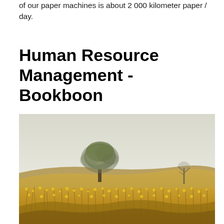of our paper machines is about 2 000 kilometer paper / day.
Human Resource Management - Bookboon
[Figure (photo): Outdoor nature photograph showing a golden field of wildflowers and grasses in the foreground, with a solitary tree with a broad rounded canopy standing on a gentle hill in the mid-ground, and a pale overcast sky in the background. A second bare tree is partially visible on the right edge.]